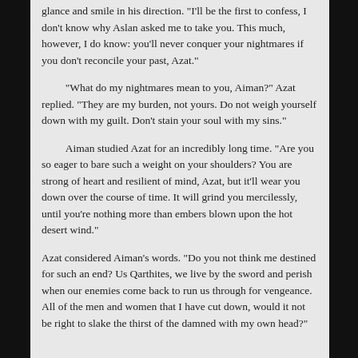glance and smile in his direction. "I'll be the first to confess, I don't know why Aslan asked me to take you. This much, however, I do know: you'll never conquer your nightmares if you don't reconcile your past, Azat."
"What do my nightmares mean to you, Aiman?" Azat replied. "They are my burden, not yours. Do not weigh yourself down with my guilt. Don't stain your soul with my sins."
Aiman studied Azat for an incredibly long time. "Are you so eager to bare such a weight on your shoulders? You are strong of heart and resilient of mind, Azat, but it'll wear you down over the course of time. It will grind you mercilessly, until you're nothing more than embers blown upon the hot desert wind."
Azat considered Aiman's words. "Do you not think me destined for such an end? Us Qarthites, we live by the sword and perish when our enemies come back to run us through for vengeance. All of the men and women that I have cut down, would it not be right to slake the thirst of the damned with my own head?"